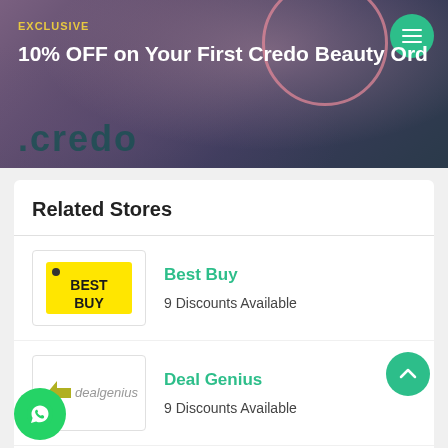[Figure (screenshot): Promotional banner for Credo Beauty with text 'EXCLUSIVE' in yellow and '10% OFF on Your First Credo Beauty Ord...' in white on a purple/dark background. Green hamburger menu button top right. Credo logo visible.]
Related Stores
[Figure (logo): Best Buy logo - yellow price tag shape with BEST BUY text in black]
Best Buy
9 Discounts Available
[Figure (logo): Deal Genius logo with star/arrow icon and italic text 'dealgenius']
Deal Genius
9 Discounts Available
[Figure (logo): PiecesAuto24 logo in green text]
PiecesAuto24
4 Discounts Available
[Figure (logo): Credit Saint US logo with dark blue icon and text 'CREDIT SAINT']
Credit Saint US
3 Discounts Available